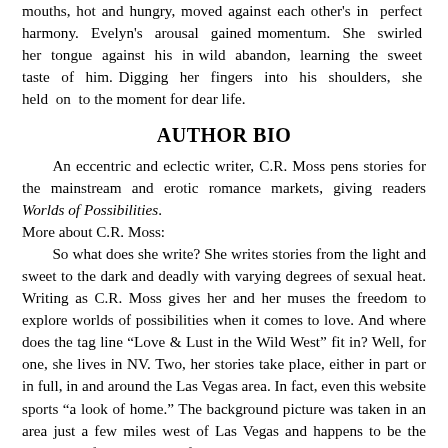mouths, hot and hungry, moved against each other's in perfect harmony. Evelyn's arousal gained momentum. She swirled her tongue against his in wild abandon, learning the sweet taste of him. Digging her fingers into his shoulders, she held on to the moment for dear life.
AUTHOR BIO
An eccentric and eclectic writer, C.R. Moss pens stories for the mainstream and erotic romance markets, giving readers Worlds of Possibilities.
More about C.R. Moss:
    So what does she write? She writes stories from the light and sweet to the dark and deadly with varying degrees of sexual heat. Writing as C.R. Moss gives her and her muses the freedom to explore worlds of possibilities when it comes to love. And where does the tag line “Love & Lust in the Wild West” fit in? Well, for one, she lives in NV. Two, her stories take place, either in part or in full, in and around the Las Vegas area. In fact, even this website sports “a look of home.” The background picture was taken in an area just a few miles west of Las Vegas and happens to be the inspiration for the setting of the Double D Ranch Tales saga.